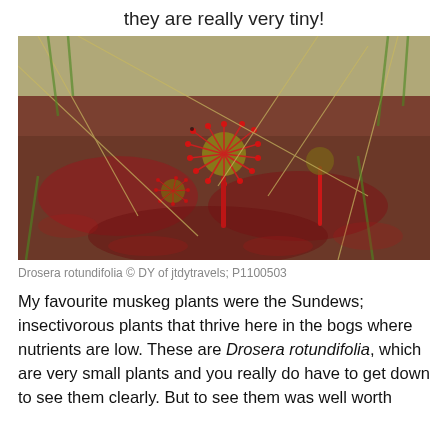they are really very tiny!
[Figure (photo): Close-up photograph of Drosera rotundifolia (round-leaved sundew) plants growing in boggy muskeg habitat, showing red sticky tentacles and leaves surrounded by sphagnum moss and dry vegetation.]
Drosera rotundifolia © DY of jtdytravels; P1100503
My favourite muskeg plants were the Sundews; insectivorous plants that thrive here in the bogs where nutrients are low. These are Drosera rotundifolia, which are very small plants and you really do have to get down to see them clearly. But to see them was well worth